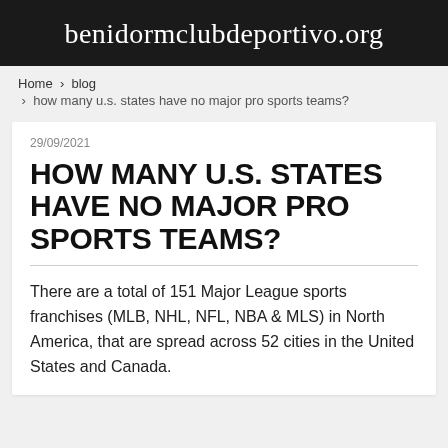benidormclubdeportivo.org
Home › blog › how many u.s. states have no major pro sports teams?
29/09/2021
HOW MANY U.S. STATES HAVE NO MAJOR PRO SPORTS TEAMS?
There are a total of 151 Major League sports franchises (MLB, NHL, NFL, NBA & MLS) in North America, that are spread across 52 cities in the United States and Canada.